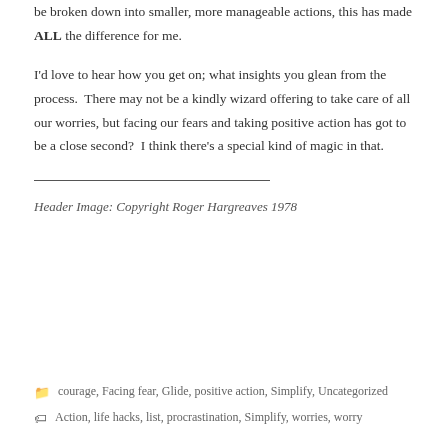be broken down into smaller, more manageable actions, this has made ALL the difference for me.
I'd love to hear how you get on; what insights you glean from the process.  There may not be a kindly wizard offering to take care of all our worries, but facing our fears and taking positive action has got to be a close second?  I think there's a special kind of magic in that.
___________________________________________
Header Image: Copyright Roger Hargreaves 1978
courage, Facing fear, Glide, positive action, Simplify, Uncategorized
Action, life hacks, list, procrastination, Simplify, worries, worry